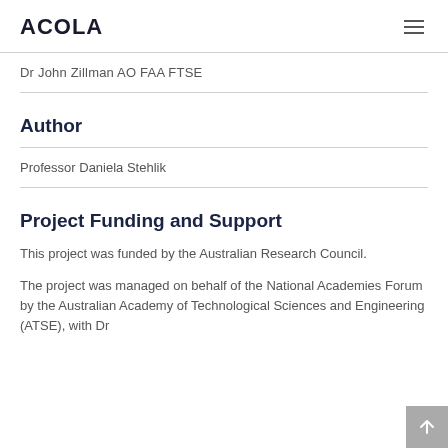ACOLA
Dr John Zillman AO FAA FTSE
Author
Professor Daniela Stehlik
Project Funding and Support
This project was funded by the Australian Research Council.
The project was managed on behalf of the National Academies Forum by the Australian Academy of Technological Sciences and Engineering (ATSE), with Dr